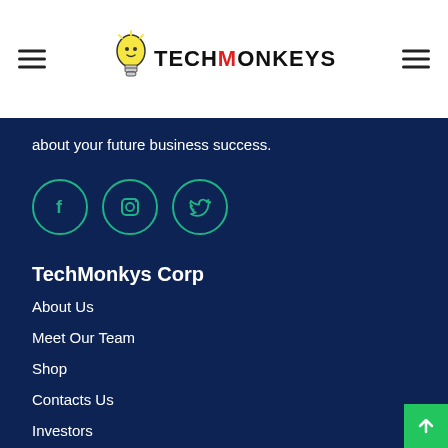[Figure (logo): TechMonkeys logo with lightbulb icon and stylized text]
about your future business success.
[Figure (illustration): Three teal social media icons in circles: Facebook, Instagram, Twitter]
TechMonkys Corp
About Us
Meet Our Team
Shop
Contacts Us
Investors